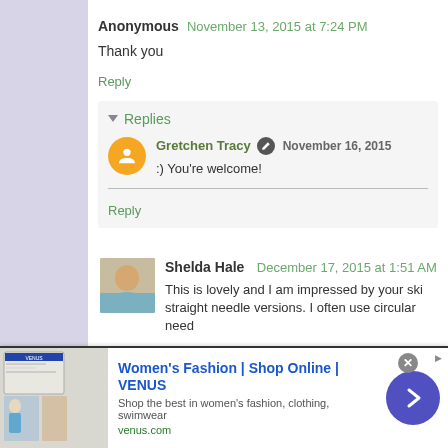Anonymous  November 13, 2015 at 7:24 PM
Thank you
Reply
Replies
Gretchen Tracy  November 16, 2015
:) You're welcome!
Reply
Shelda Hale  December 17, 2015 at 1:51 AM
This is lovely and I am impressed by your ski straight needle versions. I often use circular need
[Figure (screenshot): Advertisement banner for Venus women's fashion online store, with thumbnail image, title 'Women's Fashion | Shop Online | VENUS', description text, URL venus.com, and a purple arrow button.]